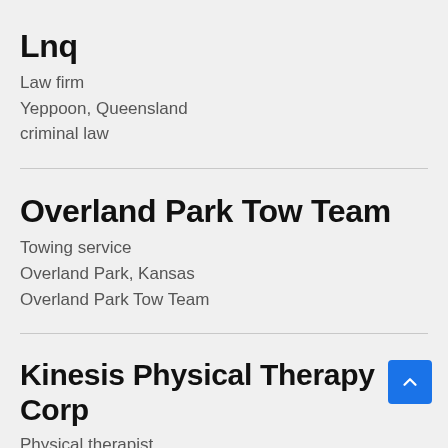Lnq
Law firm
Yeppoon, Queensland
criminal law
Overland Park Tow Team
Towing service
Overland Park, Kansas
Overland Park Tow Team
Kinesis Physical Therapy Corp
Physical therapist
Grande Prairie, Alberta